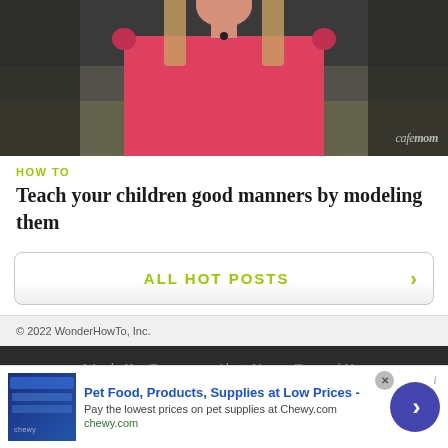[Figure (photo): Video thumbnail showing a woman in a pink/red top sitting on a couch, with 'cafemom' watermark in bottom right]
HOW TO
Teach your children good manners by modeling them
ALL HOT POSTS >
© 2022 WonderHowTo, Inc.
WonderHowTo.com   About Us   Terms of Use   Privacy Policy
Don't Miss:
[Figure (screenshot): Advertisement banner for Chewy.com: 'Pet Food, Products, Supplies at Low Prices - Pay the lowest prices on pet supplies at Chewy.com']